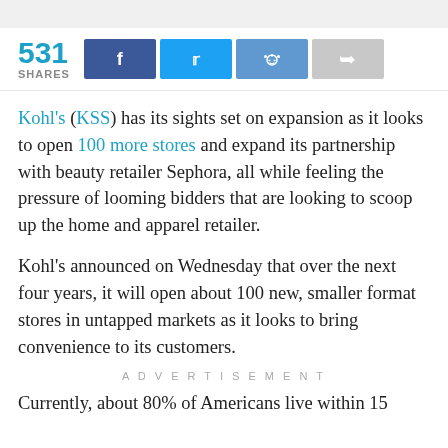[Figure (other): Social share bar showing 531 shares with Facebook, Twitter, Reddit, and share buttons]
Kohl's (KSS) has its sights set on expansion as it looks to open 100 more stores and expand its partnership with beauty retailer Sephora, all while feeling the pressure of looming bidders that are looking to scoop up the home and apparel retailer.
Kohl's announced on Wednesday that over the next four years, it will open about 100 new, smaller format stores in untapped markets as it looks to bring convenience to its customers.
ADVERTISEMENT
Currently, about 80% of Americans live within 15